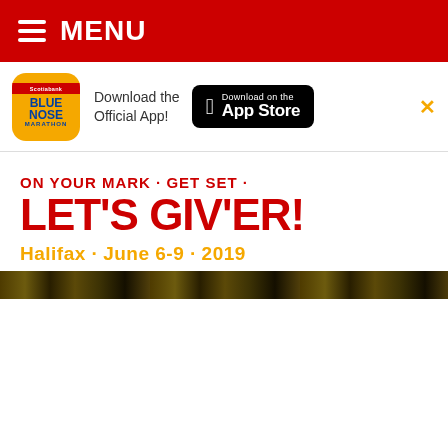MENU
[Figure (screenshot): Blue Nose Marathon app icon in orange/yellow with red top bar and blue text]
Download the Official App!
[Figure (logo): Download on the App Store button]
ON YOUR MARK · GET SET · LET'S GIV'ER!
Halifax · June 6-9 · 2019
[Figure (photo): Narrow strip of a photo showing foliage/nature scene]